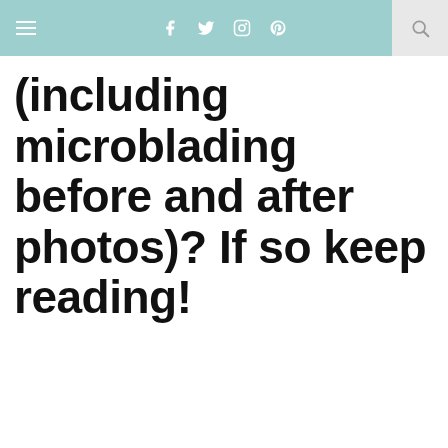Navigation bar with hamburger menu, social icons (Facebook, Twitter, Instagram, Pinterest), and search button
(including microblading before and after photos)? If so keep reading!